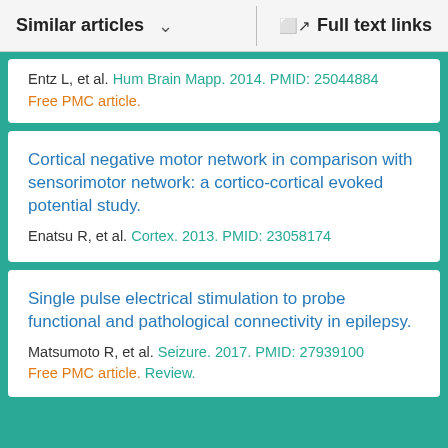Similar articles    Full text links
Entz L, et al. Hum Brain Mapp. 2014. PMID: 25044884
Free PMC article.
Cortical negative motor network in comparison with sensorimotor network: a cortico-cortical evoked potential study.
Enatsu R, et al. Cortex. 2013. PMID: 23058174
Single pulse electrical stimulation to probe functional and pathological connectivity in epilepsy.
Matsumoto R, et al. Seizure. 2017. PMID: 27939100
Free PMC article. Review.